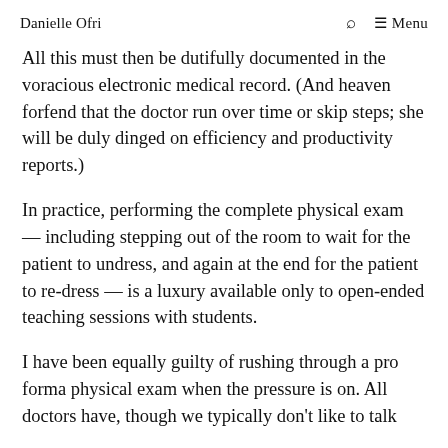Danielle Ofri   🔍  ≡ Menu
All this must then be dutifully documented in the voracious electronic medical record. (And heaven forfend that the doctor run over time or skip steps; she will be duly dinged on efficiency and productivity reports.)
In practice, performing the complete physical exam — including stepping out of the room to wait for the patient to undress, and again at the end for the patient to re-dress — is a luxury available only to open-ended teaching sessions with students.
I have been equally guilty of rushing through a pro forma physical exam when the pressure is on. All doctors have, though we typically don't like to talk about it. But we owe it to our patients to find a …